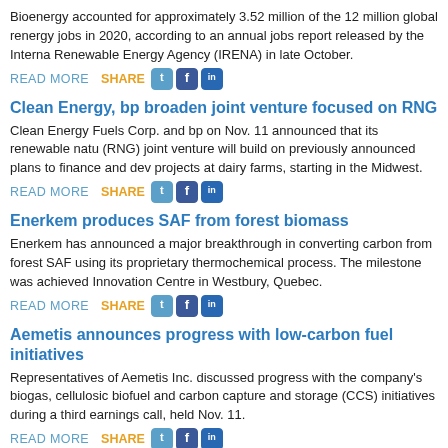Bioenergy accounted for approximately 3.52 million of the 12 million global renewable energy jobs in 2020, according to an annual jobs report released by the International Renewable Energy Agency (IRENA) in late October.
READ MORE   SHARE
Clean Energy, bp broaden joint venture focused on RNG
Clean Energy Fuels Corp. and bp on Nov. 11 announced that its renewable natural gas (RNG) joint venture will build on previously announced plans to finance and develop projects at dairy farms, starting in the Midwest.
READ MORE   SHARE
Enerkem produces SAF from forest biomass
Enerkem has announced a major breakthrough in converting carbon from forest biomass to SAF using its proprietary thermochemical process. The milestone was achieved at its Innovation Centre in Westbury, Quebec.
READ MORE   SHARE
Aemetis announces progress with low-carbon fuel initiatives
Representatives of Aemetis Inc. discussed progress with the company's biogas, cellulosic biofuel and carbon capture and storage (CCS) initiatives during a third-quarter earnings call, held Nov. 11.
READ MORE   SHARE
Gevo provides update of proposed Net-Zero 1 project